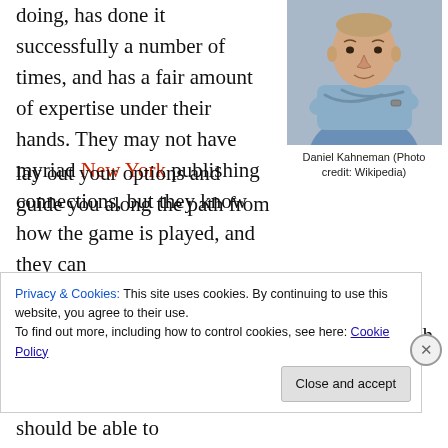doing, has done it successfully a number of times, and has a fair amount of expertise under their hands. They may not have myriad New York publishing connections, but they know how the game is played, and they can lay out your options and guide you along the path from development to print or eBook production.  Can they guarantee a bestseller? No, but they should be able to
[Figure (photo): Photo of Daniel Kahneman, a man with crossed arms wearing a light blue shirt]
Daniel Kahneman (Photo credit: Wikipedia)
Privacy & Cookies: This site uses cookies. By continuing to use this website, you agree to their use.
To find out more, including how to control cookies, see here: Cookie Policy